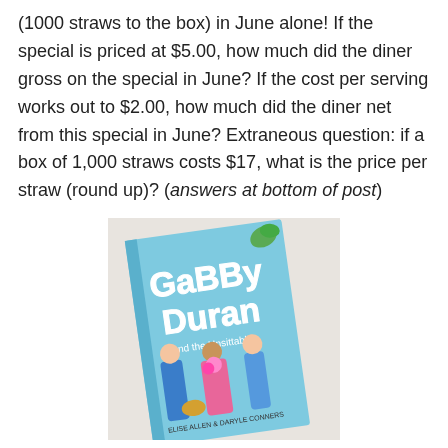(1000 straws to the box) in June alone!  If the special is priced at $5.00, how much did the diner gross on the special in June?  If the cost per serving works out to $2.00, how much did the diner net from this special in June?  Extraneous question: if a box of 1,000 straws costs $17, what is the price per straw (round up)? (answers at bottom of post)
[Figure (photo): A photo of the book 'Gabby Duran and the Unsittables' lying on a light surface at a slight angle. The book has a light blue cover with illustrated characters on it.]